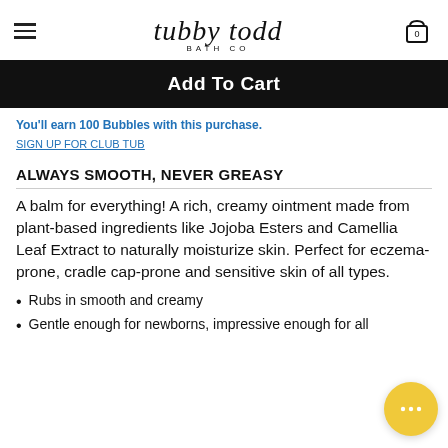tubby todd BATH CO
Add To Cart
You'll earn 100 Bubbles with this purchase.
SIGN UP FOR CLUB TUB
ALWAYS SMOOTH, NEVER GREASY
A balm for everything! A rich, creamy ointment made from plant-based ingredients like Jojoba Esters and Camellia Leaf Extract to naturally moisturize skin. Perfect for eczema-prone, cradle cap-prone and sensitive skin of all types.
Rubs in smooth and creamy
Gentle enough for newborns, impressive enough for all